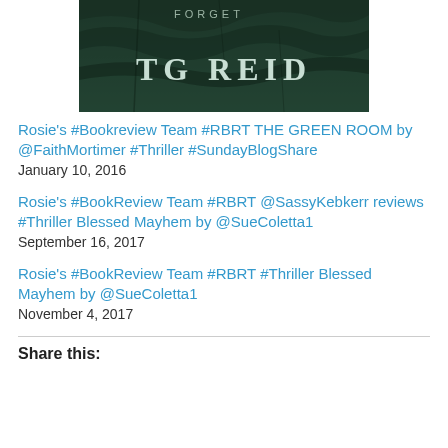[Figure (photo): Book cover image showing 'TG REID' text and 'FORGET' text on a dark green stone/concrete textured background]
Rosie's #Bookreview Team #RBRT THE GREEN ROOM by @FaithMortimer #Thriller #SundayBlogShare
January 10, 2016
Rosie's #BookReview Team #RBRT @SassyKebkerr reviews #Thriller Blessed Mayhem by @SueColetta1
September 16, 2017
Rosie's #BookReview Team #RBRT #Thriller Blessed Mayhem by @SueColetta1
November 4, 2017
Share this: